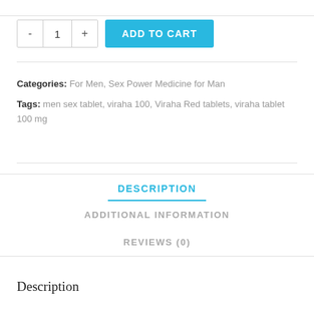- 1 + ADD TO CART
Categories: For Men, Sex Power Medicine for Man
Tags: men sex tablet, viraha 100, Viraha Red tablets, viraha tablet 100 mg
DESCRIPTION
ADDITIONAL INFORMATION
REVIEWS (0)
Description